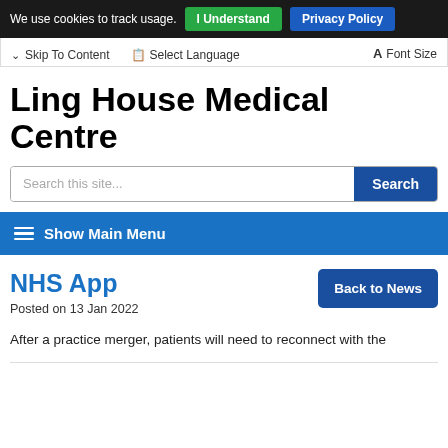We use cookies to track usage. I Understand Privacy Policy
Skip To Content   Select Language   Font Size
Ling House Medical Centre
Search this site...
Show Main Menu
NHS App
Posted on 13 Jan 2022
Back to News
After a practice merger, patients will need to reconnect with the